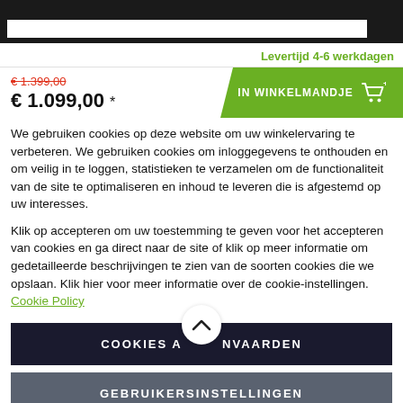Levertijd 4-6 werkdagen
€ 1.399,00  € 1.099,00 *
IN WINKELMANDJE
We gebruiken cookies op deze website om uw winkelervaring te verbeteren. We gebruiken cookies om inloggegevens te onthouden en om veilig in te loggen, statistieken te verzamelen om de functionaliteit van de site te optimaliseren en inhoud te leveren die is afgestemd op uw interesses.
Klik op accepteren om uw toestemming te geven voor het accepteren van cookies en ga direct naar de site of klik op meer informatie om gedetailleerde beschrijvingen te zien van de soorten cookies die we opslaan. Klik hier voor meer informatie over de cookie-instellingen. Cookie Policy
COOKIES AANVAARDEN
GEBRUIKERSINSTELLINGEN